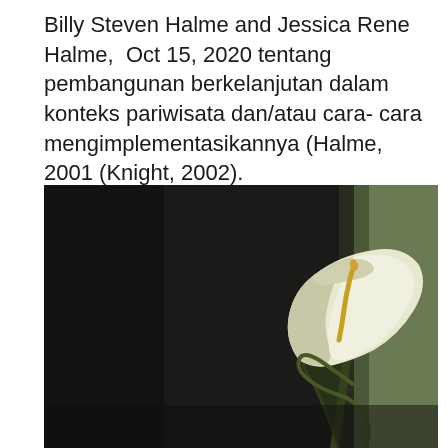Billy Steven Halme and Jessica Rene Halme,  Oct 15, 2020 tentang pembangunan berkelanjutan dalam konteks pariwisata dan/atau cara- cara mengimplementasikannya (Halme, 2001 (Knight, 2002).
[Figure (photo): A dark moody photograph showing a white calla lily flower emerging from a very dark/black background on the left side, with a lighter olive/green vertical stripe on the right side of the image.]